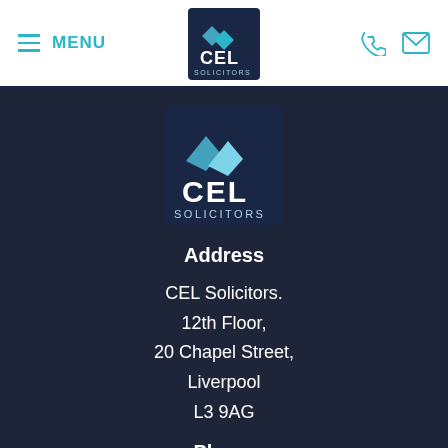MENU | CEL Solicitors logo | phone icon | mail icon
[Figure (logo): CEL Solicitors logo — dark navy square with two cyan chevrons and white text CEL SOLICITORS]
Address
CEL Solicitors.
12th Floor,
20 Chapel Street,
Liverpool
L3 9AG
Phone
0808 273 0900